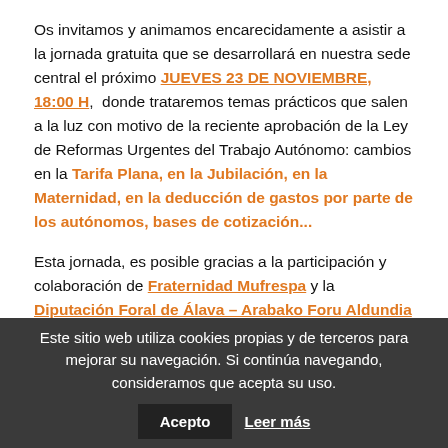Os invitamos y animamos encarecidamente a asistir a la jornada gratuita que se desarrollará en nuestra sede central el próximo JUEVES 23 DE NOVIEMBRE, 18:00 H,  donde trataremos temas prácticos que salen a la luz con motivo de la reciente aprobación de la Ley de Reformas Urgentes del Trabajo Autónomo: cambios en la Tarifa Plana, en la Jubilación, en la Maternidad, en la deducción de gastos por parte de los autónomos, bases de cotización...
Esta jornada, es posible gracias a la participación y colaboración de Fraternidad Mufrespa y la Diputación Foral de Álava – Arabako Foru Aldundia
Este sitio web utiliza cookies propias y de terceros para mejorar su navegación. Si continúa navegando, consideramos que acepta su uso. Acepto Leer más